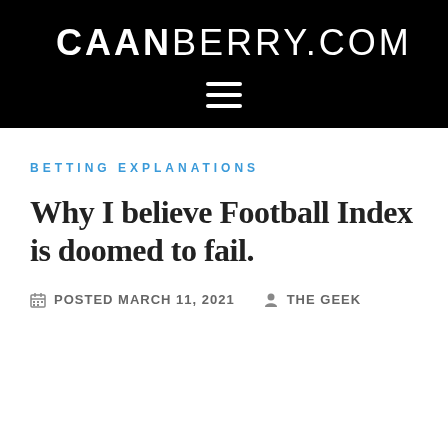CAANBERRY.COM
BETTING EXPLANATIONS
Why I believe Football Index is doomed to fail.
POSTED MARCH 11, 2021  THE GEEK